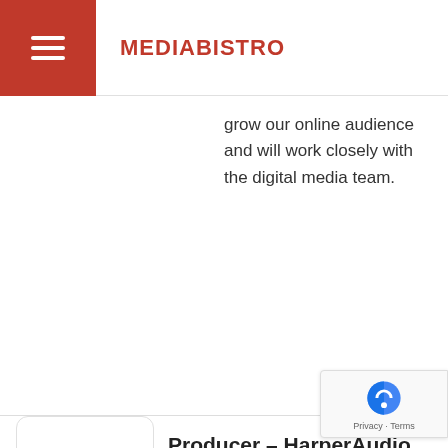MEDIABISTRO
grow our online audience and will work closely with the digital media team.
Producer – HarperAudio
HarperCollins Publishers - New York, NY USA (about 2 months ago) HarperAudio is looking to hire a producer! We're a nimble, dynamic team that oversees the production of all of HarperCollins US and Harlequin US au...
PRODUCER, THE CLAMAN COUNTDOWN